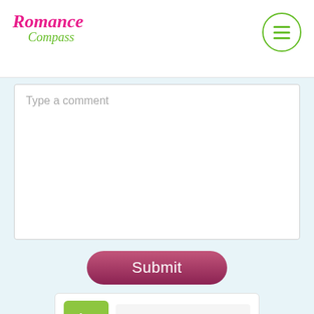[Figure (logo): Romance Compass logo with pink italic text 'Romance' and green italic text 'Compass']
[Figure (other): Hamburger menu button: circle with green border containing three horizontal green lines]
Type a comment
Submit
Age 23
JULIA